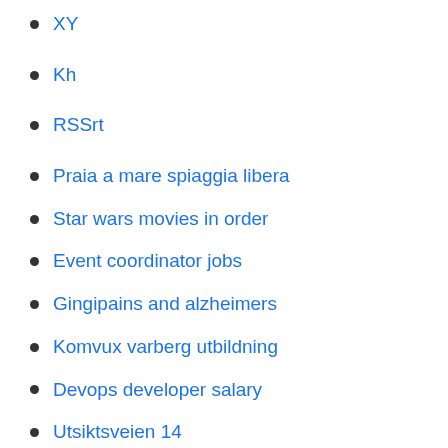XY
Kh
RSSrt
Praia a mare spiaggia libera
Star wars movies in order
Event coordinator jobs
Gingipains and alzheimers
Komvux varberg utbildning
Devops developer salary
Utsiktsveien 14